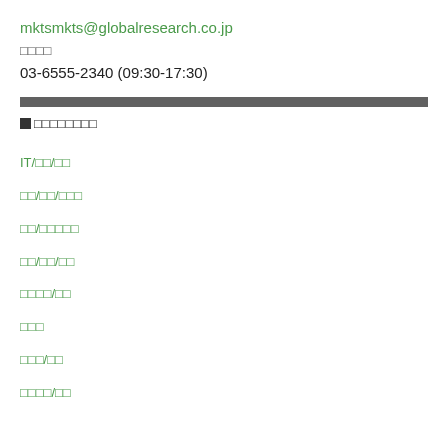mktsmkts@globalresearch.co.jp
□□□□
03-6555-2340 (09:30-17:30)
■□□□□□□□□
IT/□□/□□
□□/□□/□□□
□□/□□□□□
□□/□□/□□
□□□□/□□
□□□
□□□/□□
□□□□/□□